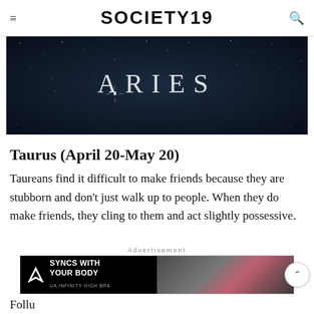SOCIETY19
[Figure (photo): Dark starry night sky with the word ARIES spelled out in light lettering]
Taurus (April 20-May 20)
Taureans find it difficult to make friends because they are stubborn and don't just walk up to people. When they do make friends, they cling to them and act slightly possessive.
Advertisement
[Figure (infographic): Under Armour advertisement: SYNCS WITH YOUR BODY - UA INFINITY HIGH BRA, with image of woman working out]
Follu...